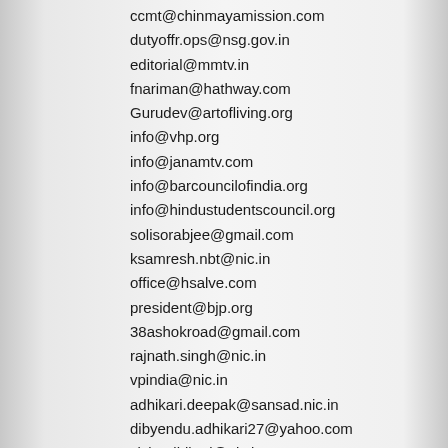ccmt@chinmayamission.com
dutyoffr.ops@nsg.gov.in
editorial@mmtv.in
fnariman@hathway.com
Gurudev@artofliving.org
info@vhp.org
info@janamtv.com
info@barcouncilofindia.org
info@hindustudentscouncil.org
solisorabjee@gmail.com
ksamresh.nbt@nic.in
office@hsalve.com
president@bjp.org
38ashokroad@gmail.com
rajnath.singh@nic.in
vpindia@nic.in
adhikari.deepak@sansad.nic.in
dibyendu.adhikari27@yahoo.com
sisir.adhikari@nic.in
sisiradhikari76@yahoo.com
ssa@sansad.nic.in
tengrs@gmail.com